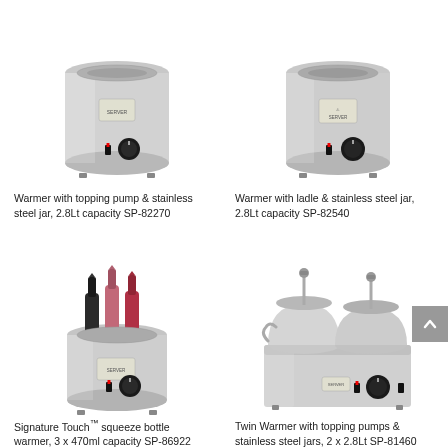[Figure (photo): Warmer with topping pump and stainless steel jar, 2.8Lt capacity, product SP-82270]
Warmer with topping pump & stainless steel jar, 2.8Lt capacity SP-82270
[Figure (photo): Warmer with ladle and stainless steel jar, 2.8Lt capacity, product SP-82540]
Warmer with ladle & stainless steel jar, 2.8Lt capacity SP-82540
[Figure (photo): Signature Touch squeeze bottle warmer holding 3 x 470ml squeeze bottles, product SP-86922]
Signature Touch™ squeeze bottle warmer, 3 x 470ml capacity SP-86922
[Figure (photo): Twin Warmer with two topping pumps and stainless steel jars, 2 x 2.8Lt, product SP-81460]
Twin Warmer with topping pumps & stainless steel jars, 2 x 2.8Lt SP-81460